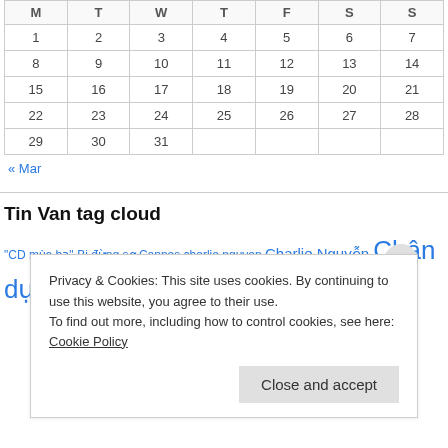| M | T | W | T | F | S | S |
| --- | --- | --- | --- | --- | --- | --- |
| 1 | 2 | 3 | 4 | 5 | 6 | 7 |
| 8 | 9 | 10 | 11 | 12 | 13 | 14 |
| 15 | 16 | 17 | 18 | 19 | 20 | 21 |
| 22 | 23 | 24 | 25 | 26 | 27 | 28 |
| 29 | 30 | 31 |  |  |  |  |
« Mar
Tin Van tag cloud
"CD mùa hạ" Bi đừng sợ Cannes charlie nguyen Charlie Nguyễn Chân dụng k4 Critical Writing dang phat minh Dean Wilson
Privacy & Cookies: This site uses cookies. By continuing to use this website, you agree to their use.
To find out more, including how to control cookies, see here: Cookie Policy
Close and accept